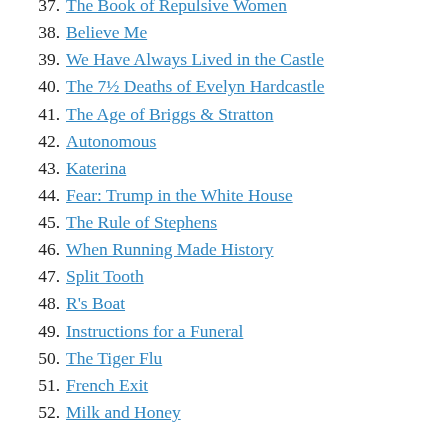37. The Book of Repulsive Women
38. Believe Me
39. We Have Always Lived in the Castle
40. The 7½ Deaths of Evelyn Hardcastle
41. The Age of Briggs & Stratton
42. Autonomous
43. Katerina
44. Fear: Trump in the White House
45. The Rule of Stephens
46. When Running Made History
47. Split Tooth
48. R's Boat
49. Instructions for a Funeral
50. The Tiger Flu
51. French Exit
52. Milk and Honey